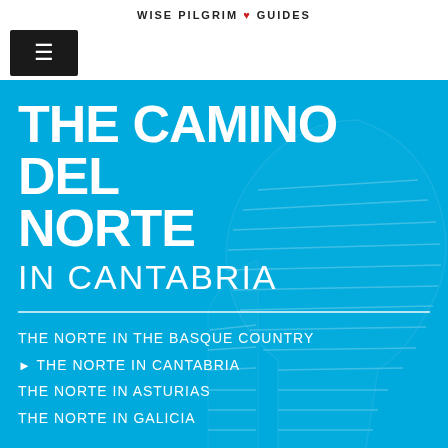WISE PILGRIM ♥ GUIDES
[Figure (other): Hamburger menu button (three horizontal lines) on dark background]
THE CAMINO DEL NORTE
IN CANTABRIA
THE NORTE IN THE BASQUE COUNTRY
► THE NORTE IN CANTABRIA
THE NORTE IN ASTURIAS
THE NORTE IN GALICIA
ACCOMMODATION DIRECTORY